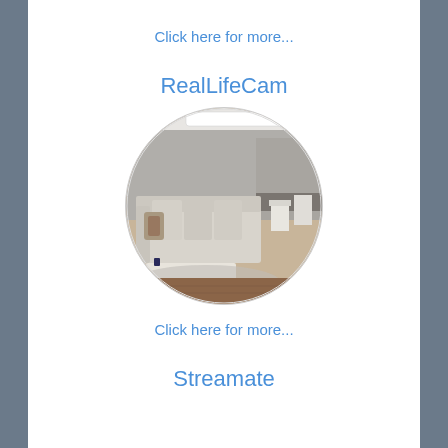Click here for more...
RealLifeCam
[Figure (screenshot): Circular cropped screenshot of a living room interior showing a sofa, coffee table, rug, and kitchen area in the background, displayed within a circular frame.]
Click here for more...
Streamate